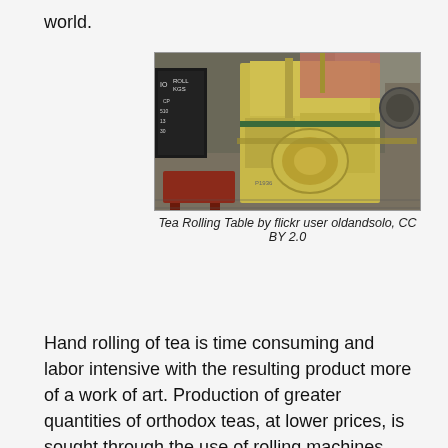world.
[Figure (photo): A yellow tea rolling machine in a factory/workshop setting. A blackboard with chalk writing is visible on the left. A red wooden stool sits in front. Industrial machinery fills the background.]
Tea Rolling Table by flickr user oldandsolo, CC BY 2.0
Hand rolling of tea is time consuming and labor intensive with the resulting product more of a work of art. Production of greater quantities of orthodox teas, at lower prices, is sought through the use of rolling machines.